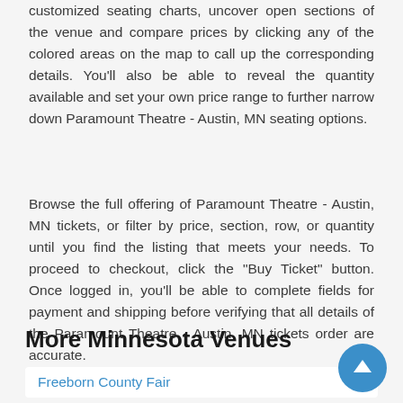customized seating charts, uncover open sections of the venue and compare prices by clicking any of the colored areas on the map to call up the corresponding details. You'll also be able to reveal the quantity available and set your own price range to further narrow down Paramount Theatre - Austin, MN seating options.
Browse the full offering of Paramount Theatre - Austin, MN tickets, or filter by price, section, row, or quantity until you find the listing that meets your needs. To proceed to checkout, click the "Buy Ticket" button. Once logged in, you'll be able to complete fields for payment and shipping before verifying that all details of the Paramount Theatre - Austin, MN tickets order are accurate.
More Minnesota Venues
Freeborn County Fair